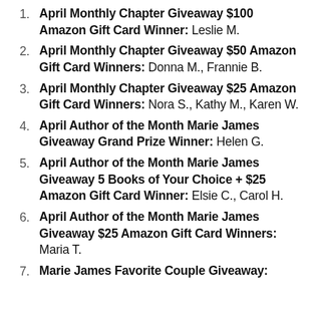April Monthly Chapter Giveaway $100 Amazon Gift Card Winner: Leslie M.
April Monthly Chapter Giveaway $50 Amazon Gift Card Winners: Donna M., Frannie B.
April Monthly Chapter Giveaway $25 Amazon Gift Card Winners: Nora S., Kathy M., Karen W.
April Author of the Month Marie James Giveaway Grand Prize Winner: Helen G.
April Author of the Month Marie James Giveaway 5 Books of Your Choice + $25 Amazon Gift Card Winner: Elsie C., Carol H.
April Author of the Month Marie James Giveaway $25 Amazon Gift Card Winners: Maria T.
Marie James Favorite Couple Giveaway: